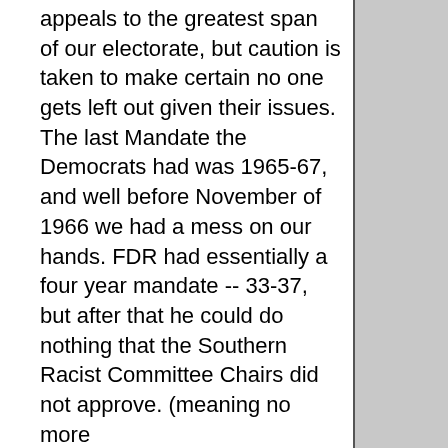appeals to the greatest span of our electorate, but caution is taken to make certain no one gets left out given their issues. The last Mandate the Democrats had was 1965-67, and well before November of 1966 we had a mess on our hands. FDR had essentially a four year mandate -- 33-37, but after that he could do nothing that the Southern Racist Committee Chairs did not approve. (meaning no more